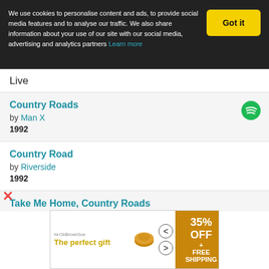We use cookies to personalise content and ads, to provide social media features and to analyse our traffic. We also share information about your use of our site with our social media, advertising and analytics partners Learn more
Country Roads by Man X 1992
Country Road by Riverside 1992
Take Me Home, Country Roads by Ronny Kubera 1992
Take Me Home Country Road (partial)